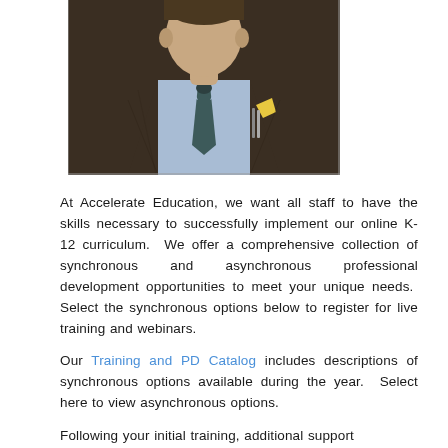[Figure (photo): Partial photo of a man in a dark brown tweed jacket, light blue dress shirt, and dark tie with a yellow pocket square, cropped at the chest/shoulder area.]
At Accelerate Education, we want all staff to have the skills necessary to successfully implement our online K-12 curriculum.  We offer a comprehensive collection of synchronous and asynchronous professional development opportunities to meet your unique needs.  Select the synchronous options below to register for live training and webinars.
Our Training and PD Catalog includes descriptions of synchronous options available during the year.  Select here to view asynchronous options.
Following your initial training, additional support